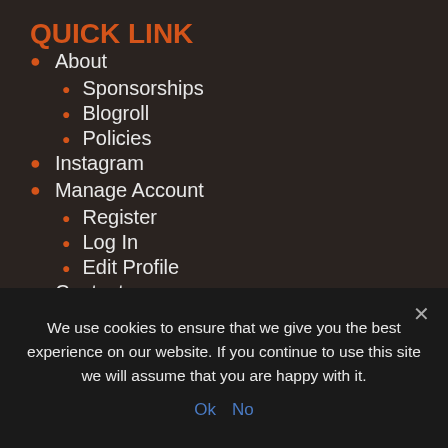QUICK LINK
About
Sponsorships
Blogroll
Policies
Instagram
Manage Account
Register
Log In
Edit Profile
Contact
We use cookies to ensure that we give you the best experience on our website. If you continue to use this site we will assume that you are happy with it.
Ok   No